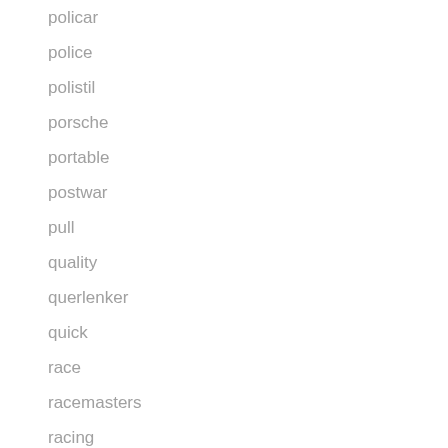policar
police
polistil
porsche
portable
postwar
pull
quality
querlenker
quick
race
racemasters
racing
rail
rare
rare-scx
rear
record